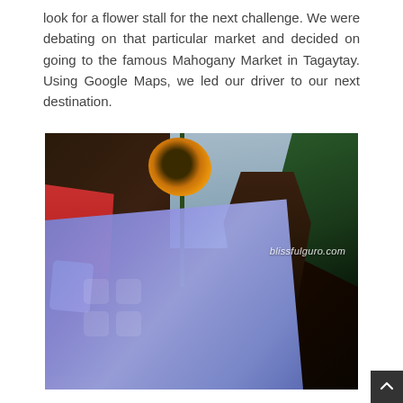look for a flower stall for the next challenge. We were debating on that particular market and decided on going to the famous Mahogany Market in Tagaytay. Using Google Maps, we led our driver to our next destination.
[Figure (photo): A person holding a blue folder/card with a sunflower visible behind it, another person on the left holding a smartphone, dark background with outdoor market setting. Watermark reads blissfulguro.com]